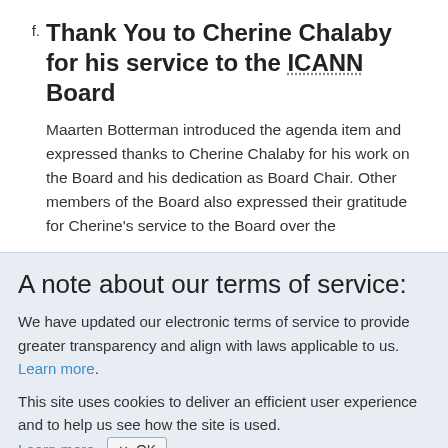f. Thank You to Cherine Chalaby for his service to the ICANN Board
Maarten Botterman introduced the agenda item and expressed thanks to Cherine Chalaby for his work on the Board and his dedication as Board Chair. Other members of the Board also expressed their gratitude for Cherine's service to the Board over the
A note about our terms of service:
We have updated our electronic terms of service to provide greater transparency and align with laws applicable to us. Learn more.
This site uses cookies to deliver an efficient user experience and to help us see how the site is used. Learn more. ✕ OK